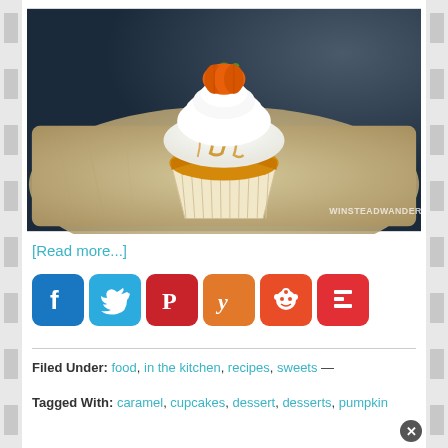[Figure (photo): A pumpkin cupcake with white frosting drizzled with caramel and topped with an orange fondant pumpkin, sitting on a silver baking tray. Watermark reads WINSTEADWANDERING.COM]
[Read more...]
[Figure (infographic): Row of six social media sharing buttons: Facebook (blue), Twitter (light blue), Pinterest (red), Yummly (orange), Reddit (orange-red), Flipboard (red)]
Filed Under: food, in the kitchen, recipes, sweets —
Tagged With: caramel, cupcakes, dessert, desserts, pumpkin